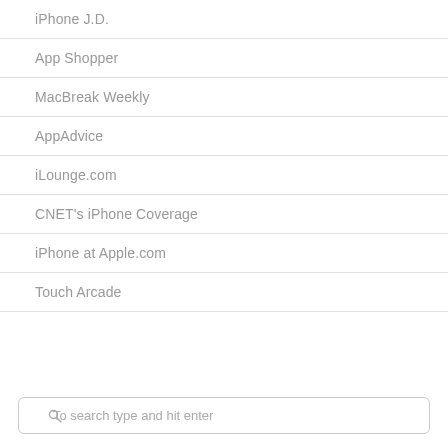iPhone J.D.
App Shopper
MacBreak Weekly
AppAdvice
iLounge.com
CNET's iPhone Coverage
iPhone at Apple.com
Touch Arcade
To search type and hit enter